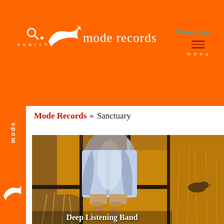[Figure (logo): Mode Records website header with orange background, search icon, fish logo, 'mode records' text, bandcamp link, and hamburger menu]
Mode Records » Sanctuary
[Figure (illustration): Album cover art for 'Sanctuary' by Deep Listening Band, showing a figure in a blue/white robe standing in what appears to be a stained glass composition, with wheat/hay at the bottom]
Deep Listening Band